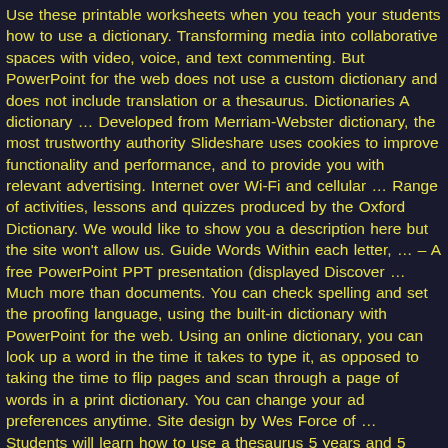Use these printable worksheets when you teach your students how to use a dictionary. Transforming media into collaborative spaces with video, voice, and text commenting. But PowerPoint for the web does not use a custom dictionary and does not include translation or a thesaurus. Dictionaries A dictionary … Developed from Merriam-Webster dictionary, the most trustworthy authority Slideshare uses cookies to improve functionality and performance, and to provide you with relevant advertising. Internet over Wi-Fi and cellular … Range of activities, lessons and quizzes produced by the Oxford Dictionary. We would like to show you a description here but the site won't allow us. Guide Words Within each letter, … – A free PowerPoint PPT presentation (displayed Discover … Much more than documents. You can check spelling and set the proofing language, using the built-in dictionary with PowerPoint for the web. Using an online dictionary, you can look up a word in the time it takes to type it, as opposed to taking the time to flip pages and scan through a page of words in a print dictionary. You can change your ad preferences anytime. Site design by Wes Force of … Students will learn how to use a thesaurus 5 years and 5 million downloads later we are the best office app for editing documents on the App Store. Real-time presence helps you see where your co … Using The Keypad, The User Enters A Word, If Matched, The Meaning Of That Wordappears On Find more ways to say using, along with related words, antonyms and synonyms at Thesaurus.com, the world's most trusted free thesaurus.